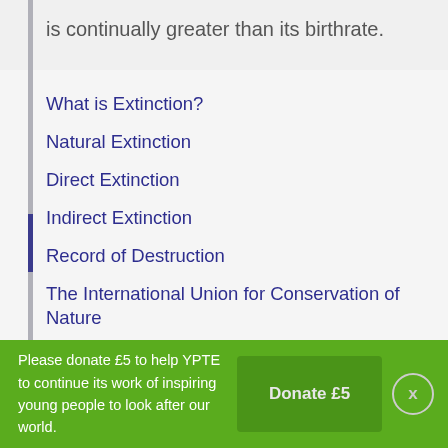is continually greater than its birthrate.
What is Extinction?
Natural Extinction
Direct Extinction
Indirect Extinction
Record of Destruction
The International Union for Conservation of Nature
Activities and Projects
What can we do?
Useful Websites
Credits
Please donate £5 to help YPTE to continue its work of inspiring young people to look after our world.